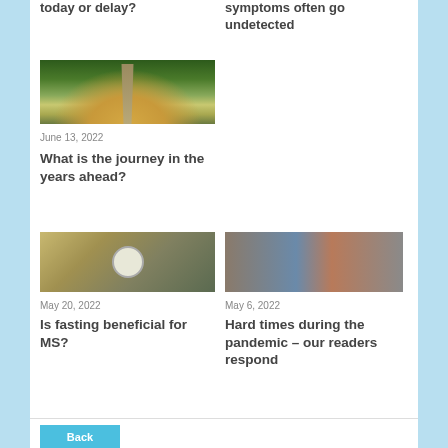today or delay?
symptoms often go undetected
[Figure (photo): Road through trees at sunrise/sunset]
June 13, 2022
What is the journey in the years ahead?
[Figure (photo): Clock on a wooden surface]
[Figure (photo): Person looking at a brick building with windows]
May 20, 2022
May 6, 2022
Is fasting beneficial for MS?
Hard times during the pandemic – our readers respond